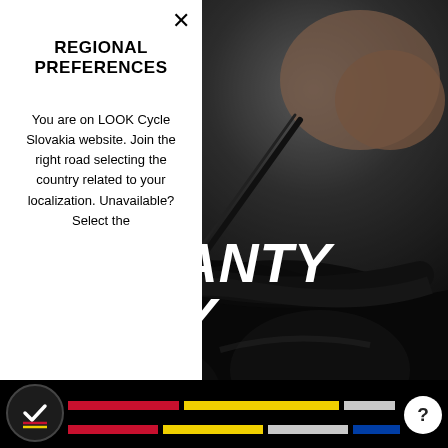[Figure (photo): Dark background photo of a bicycle mechanic working with hands and tools on black bike parts, close-up, moody lighting]
REGIONAL PREFERENCES
You are on LOOK Cycle Slovakia website. Join the right road selecting the country related to your localization. Unavailable? Select the
WARRANTY POLICY